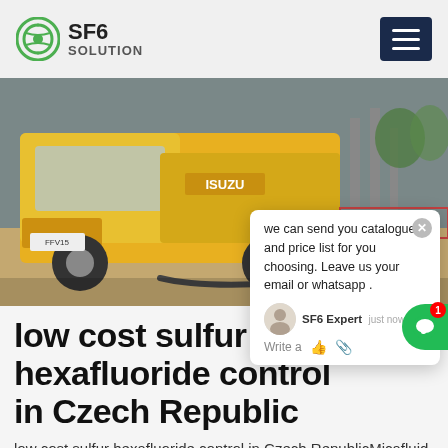[Figure (logo): SF6 Solution logo with green circular icon and text SF6 SOLUTION]
[Figure (photo): Yellow Isuzu truck parked next to industrial electrical equipment, with hoses connected, outdoor setting]
we can send you catalogue and price list for you choosing. Leave us your email or whatsapp .
SF6 Expert   just now
Write a
low cost sulfur hexafluoride control in Czech Republic
low cost sulfur hexafluoride control in Czech RepublicMicafluid sulfur hexafluoride reclamation unit with Low-CostHowever advantageous the